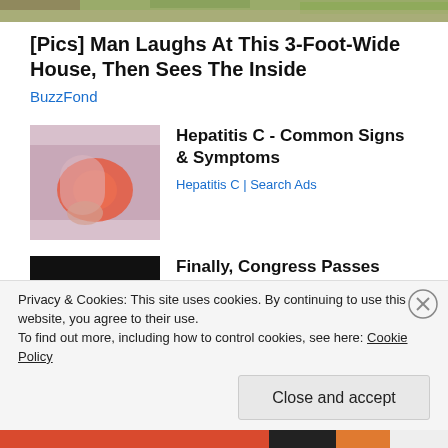[Figure (photo): Top strip of an outdoor/nature scene (grass, gravel path)]
[Pics] Man Laughs At This 3-Foot-Wide House, Then Sees The Inside
BuzzFond
[Figure (photo): Person holding their arm with redness/inflammation at the elbow area]
Hepatitis C - Common Signs & Symptoms
Hepatitis C | Search Ads
[Figure (photo): Camp Lejeune Toxic Water Lawsuit advertisement image on dark background]
Finally, Congress Passes Billions for Camp Lejeune Families
TruLaw
Privacy & Cookies: This site uses cookies. By continuing to use this website, you agree to their use.
To find out more, including how to control cookies, see here: Cookie Policy
Close and accept